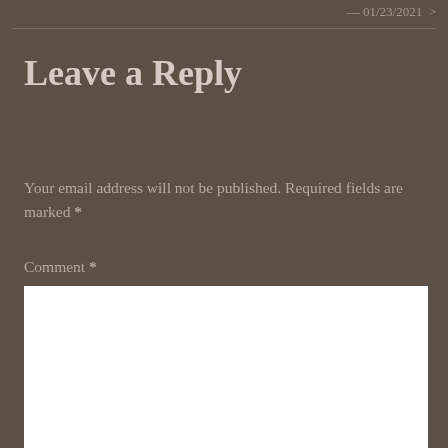— 01/23/2021 >
Leave a Reply
Your email address will not be published. Required fields are marked *
Comment *